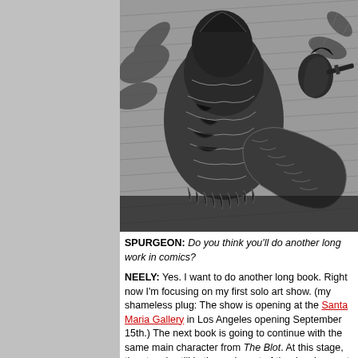[Figure (illustration): Black and white ink illustration showing a figure in armor or heavy clothing struggling with or fighting a large snake/serpent, with dramatic cross-hatching style typical of comic book art. Another figure visible in background.]
SPURGEON: Do you think you'll do another long work in comics?
NEELY: Yes. I want to do another long book. Right now I'm focusing on my first solo art show. (my shameless plug: The show is opening at the Santa Maria Gallery in Los Angeles opening September 15th.) The next book is going to continue with the same main character from The Blot. At this stage, the story is still in the early part of the development stage now. It's sort of about evolving as an artist, but I've go